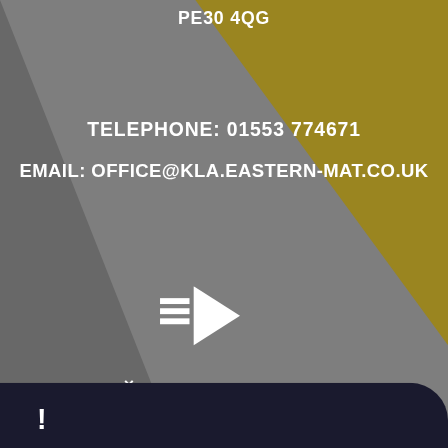PE30 4QG
TELEPHONE: 01553 774671
EMAIL: OFFICE@KLA.EASTERN-MAT.CO.UK
[Figure (logo): Play button / logo icon with horizontal lines, white on background]
PART OF THE
EASTERN... TRUST
Cookie Policy
This site uses cookies to store information on your computer. Click here for more information
Allow Cookies
Deny Cookies
!